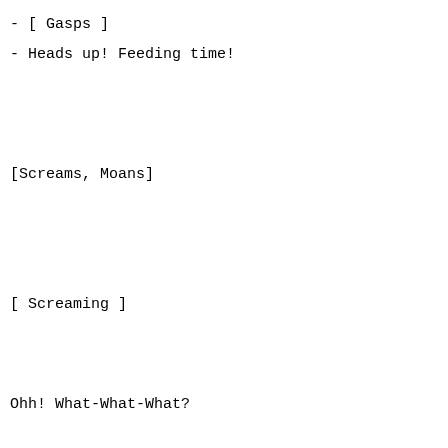- [ Gasps ]
- Heads up! Feeding time!
[Screams, Moans]
[ Screaming ]
Ohh! What-What-What?